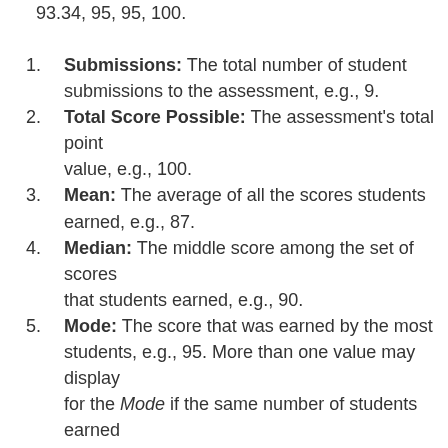93.34, 95, 95, 100.
Submissions: The total number of student submissions to the assessment, e.g., 9.
Total Score Possible: The assessment's total point value, e.g., 100.
Mean: The average of all the scores students earned, e.g., 87.
Median: The middle score among the set of scores that students earned, e.g., 90.
Mode: The score that was earned by the most students, e.g., 95. More than one value may display for the Mode if the same number of students earned different scores.
Range: The lowest and highest scores that students earned, e.g., 65 - 100.
Quartile 1: When all the students' scores are listed